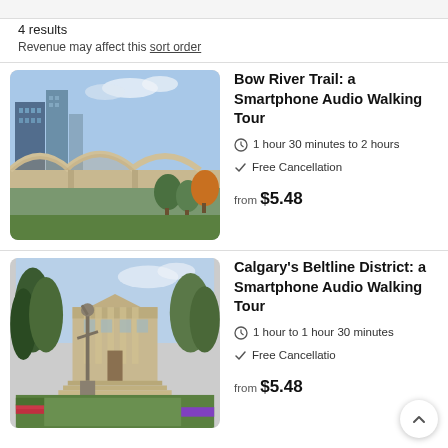4 results
Revenue may affect this sort order
Bow River Trail: a Smartphone Audio Walking Tour
1 hour 30 minutes to 2 hours
Free Cancellation
from $5.48
Calgary's Beltline District: a Smartphone Audio Walking Tour
1 hour to 1 hour 30 minutes
Free Cancellation
from $5.48